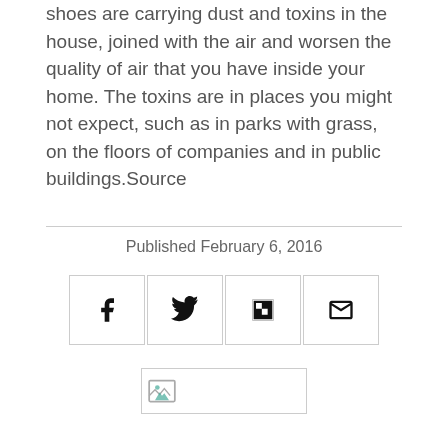shoes are carrying dust and toxins in the house, joined with the air and worsen the quality of air that you have inside your home. The toxins are in places you might not expect, such as in parks with grass, on the floors of companies and in public buildings.Source
Published February 6, 2016
[Figure (other): Social share buttons: Facebook, Twitter, Flipboard, Email]
[Figure (other): Broken image placeholder]